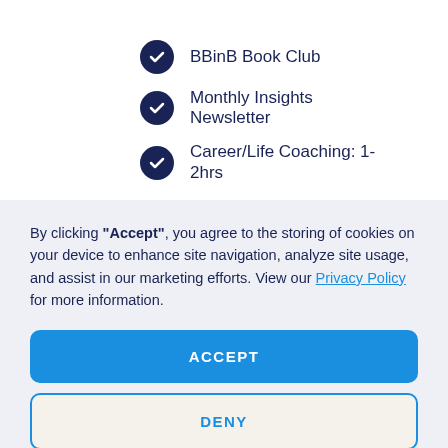BBinB Book Club
Monthly Insights Newsletter
Career/Life Coaching: 1-2hrs
By clicking "Accept", you agree to the storing of cookies on your device to enhance site navigation, analyze site usage, and assist in our marketing efforts. View our Privacy Policy for more information.
ACCEPT
DENY
Preferences